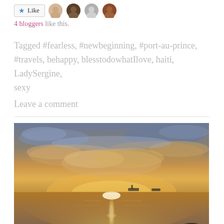[Figure (other): Like button with star icon and four blogger avatar photos]
4 bloggers like this.
Tagged #fearless, #newbeginning, #port-au-prince, #travels, behappy, blesstodowhatIlove, haiti, LadySergine, sexy
Leave a comment
[Figure (photo): Sunset over calm ocean water with golden light reflecting on the surface and clouds in the sky, two small boats visible on the horizon]